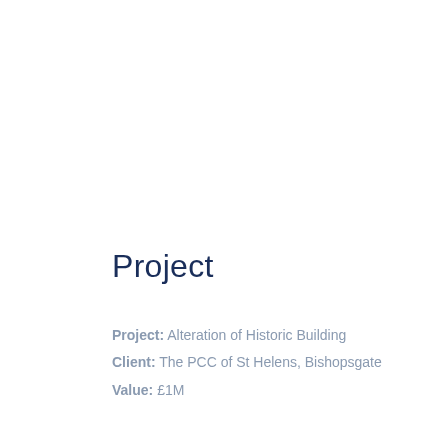Project
Project: Alteration of Historic Building
Client: The PCC of St Helens, Bishopsgate
Value: £1M